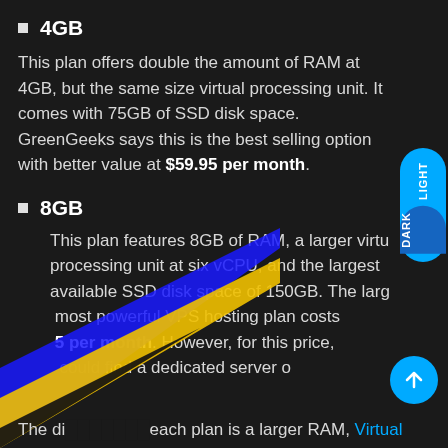4GB
This plan offers double the amount of RAM at 4GB, but the same size virtual processing unit. It comes with 75GB of SSD disk space. GreenGeeks says this is the best selling option with better value at $59.95 per month.
8GB
This plan features 8GB of RAM, a larger virtual processing unit at six vCPU, and the largest available SSD disk space of 150GB. The largest most powerful VPS hosting plan costs 5 per month. However, for this price, could find a dedicated server or
The di each plan is a larger RAM, Virtual